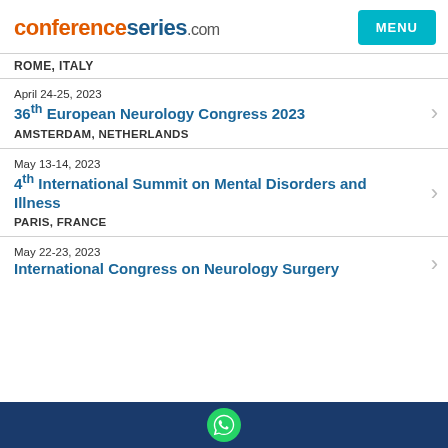conferenceseries.com
ROME, ITALY
April 24-25, 2023
36th European Neurology Congress 2023
AMSTERDAM, NETHERLANDS
May 13-14, 2023
4th International Summit on Mental Disorders and Illness
PARIS, FRANCE
May 22-23, 2023
International Congress on Neurology Surgery